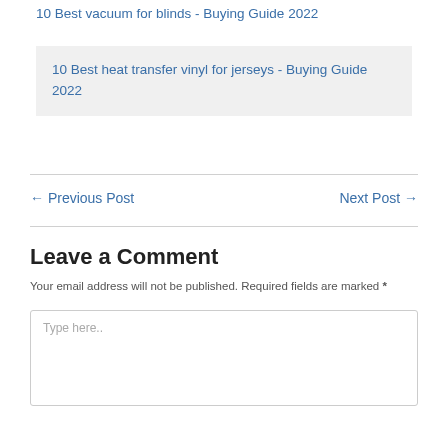10 Best vacuum for blinds - Buying Guide 2022
10 Best heat transfer vinyl for jerseys - Buying Guide 2022
← Previous Post    Next Post →
Leave a Comment
Your email address will not be published. Required fields are marked *
Type here..